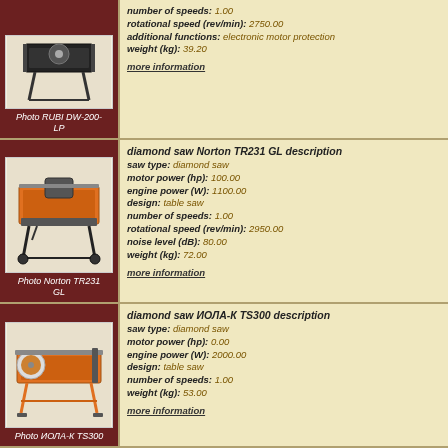[Figure (photo): Photo of RUBI DW-200-LP diamond saw (table saw, black frame with legs)]
Photo RUBI DW-200-LP
number of speeds: 1.00
rotational speed (rev/min): 2750.00
additional functions: electronic motor protection
weight (kg): 39.20
more information
[Figure (photo): Photo of Norton TR231 GL diamond saw (orange and black table saw with stand)]
Photo Norton TR231 GL
diamond saw Norton TR231 GL description
saw type: diamond saw
motor power (hp): 100.00
engine power (W): 1100.00
design: table saw
number of speeds: 1.00
rotational speed (rev/min): 2950.00
noise level (dB): 80.00
weight (kg): 72.00
more information
[Figure (photo): Photo of ИОЛА-К TS300 diamond saw (orange table saw)]
Photo ИОЛА-К TS300
diamond saw ИОЛА-К TS300 description
saw type: diamond saw
motor power (hp): 0.00
engine power (W): 2000.00
design: table saw
number of speeds: 1.00
weight (kg): 53.00
more information